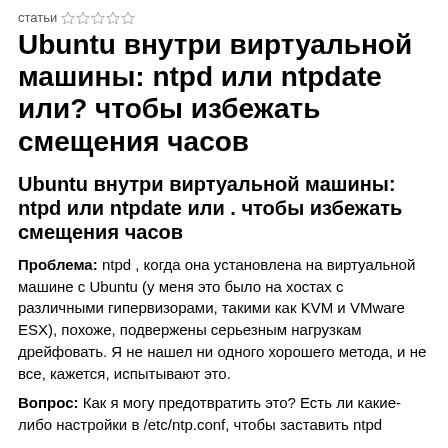статьи ☆☆☆☆☆
Ubuntu внутри виртуальной машины: ntpd или ntpdate или? чтобы избежать смещения часов
Ubuntu внутри виртуальной машины: ntpd или ntpdate или . чтобы избежать смещения часов
Проблема: ntpd , когда она установлена на виртуальной машине с Ubuntu (у меня это было на хостах с различными гипервизорами, такими как KVM и VMware ESX), похоже, подвержены серьезным нагрузкам дрейфовать. Я не нашел ни одного хорошего метода, и не все, кажется, испытывают это.
Вопрос: Как я могу предотвратить это? Есть ли какие-либо настройки в /etc/ntp.conf, чтобы заставить ntpd